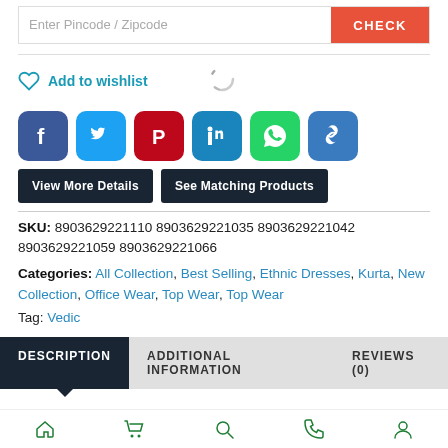Enter Pincode / Zipcode
CHECK
Add to wishlist
[Figure (screenshot): Loading spinner icon]
[Figure (infographic): Social share icons: Facebook, Twitter, Pinterest, LinkedIn, WhatsApp, Copy Link]
View More Details
See Matching Products
SKU: 8903629221110 8903629221035 8903629221042 8903629221059 8903629221066
Categories: All Collection, Best Selling, Ethnic Dresses, Kurta, New Collection, Office Wear, Top Wear, Top Wear
Tag: Vedic
DESCRIPTION   ADDITIONAL INFORMATION   REVIEWS (0)
Home | Cart | Search | Phone | Account